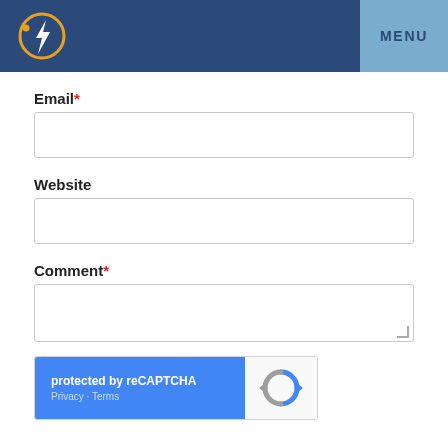[Figure (logo): Lightning bolt icon in circle with orange ring on dark blue header background, with MENU button on right]
Email*
Website
Comment*
[Figure (screenshot): reCAPTCHA widget: blue left panel with 'protected by reCAPTCHA' and 'Privacy - Terms', white right panel with reCAPTCHA logo]